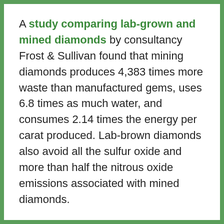A study comparing lab-grown and mined diamonds by consultancy Frost & Sullivan found that mining diamonds produces 4,383 times more waste than manufactured gems, uses 6.8 times as much water, and consumes 2.14 times the energy per carat produced. Lab-brown diamonds also avoid all the sulfur oxide and more than half the nitrous oxide emissions associated with mined diamonds.